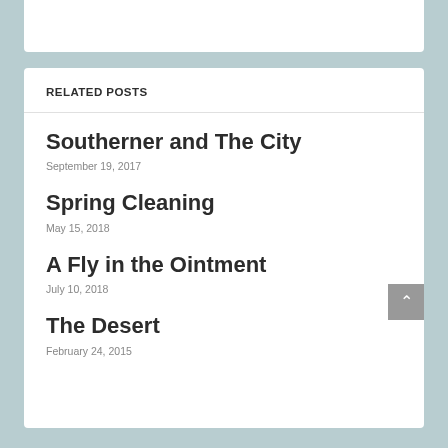RELATED POSTS
Southerner and The City
September 19, 2017
Spring Cleaning
May 15, 2018
A Fly in the Ointment
July 10, 2018
The Desert
February 24, 2015